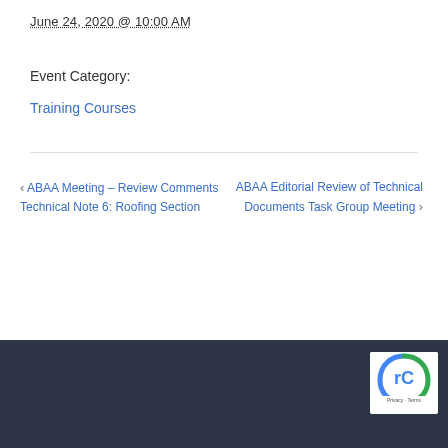June 24, 2020 @ 10:00 AM
Event Category:
Training Courses
< ABAA Meeting – Review Comments Technical Note 6: Roofing Section
ABAA Editorial Review of Technical Documents Task Group Meeting >